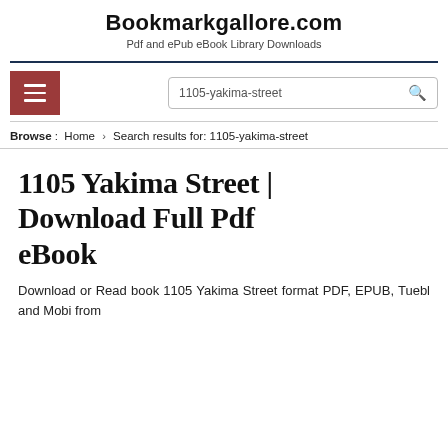Bookmarkgallore.com
Pdf and ePub eBook Library Downloads
Browse : Home > Search results for: 1105-yakima-street
1105 Yakima Street | Download Full Pdf eBook
Download or Read book 1105 Yakima Street format PDF, EPUB, Tuebl and Mobi from